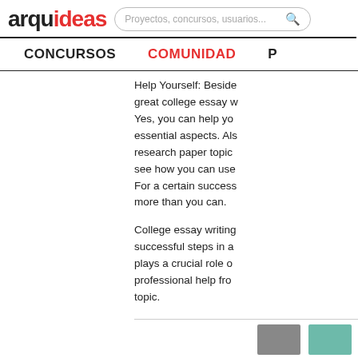arquideas — Proyectos, concursos, usuarios...
CONCURSOS  COMUNIDAD  P
Help Yourself: Beside great college essay w Yes, you can help yo essential aspects. Als research paper topic see how you can use For a certain success more than you can.
College essay writing successful steps in a plays a crucial role o professional help fro topic.